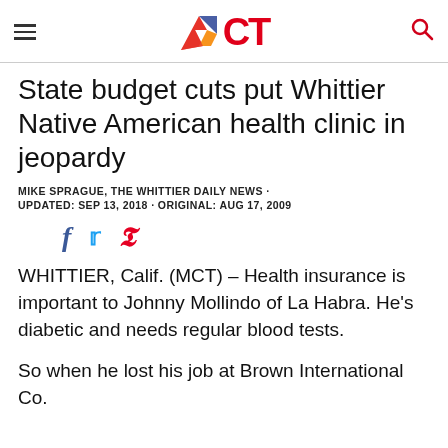ICT
State budget cuts put Whittier Native American health clinic in jeopardy
MIKE SPRAGUE, THE WHITTIER DAILY NEWS ·
UPDATED: SEP 13, 2018 · ORIGINAL: AUG 17, 2009
[Figure (other): Social media share icons: Facebook, Twitter, Pinterest]
WHITTIER, Calif. (MCT) – Health insurance is important to Johnny Mollindo of La Habra. He's diabetic and needs regular blood tests.
So when he lost his job at Brown International Co.